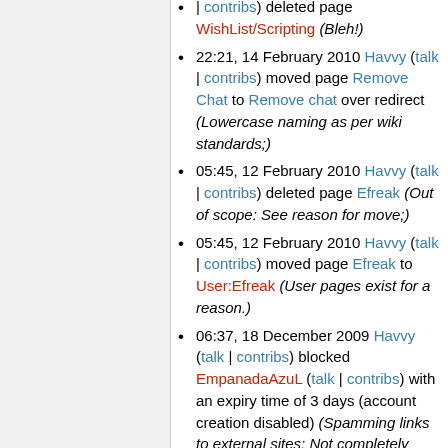| contribs) deleted page WishList/Scripting (Bleh!)
22:21, 14 February 2010 Havvy (talk | contribs) moved page Remove Chat to Remove chat over redirect (Lowercase naming as per wiki standards;)
05:45, 12 February 2010 Havvy (talk | contribs) deleted page Efreak (Out of scope: See reason for move;)
05:45, 12 February 2010 Havvy (talk | contribs) moved page Efreak to User:Efreak (User pages exist for a reason.)
06:37, 18 December 2009 Havvy (talk | contribs) blocked EmpanadaAzuL (talk | contribs) with an expiry time of 3 days (account creation disabled) (Spamming links to external sites: Not completely sure